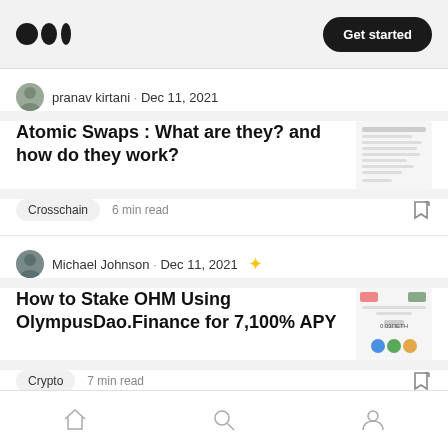Medium logo | Get started
pranav kirtani · Dec 11, 2021
Atomic Swaps : What are they? and how do they work?
Crosschain  6 min read
Michael Johnson · Dec 11, 2021
How to Stake OHM Using OlympusDao.Finance for 7,100% APY
Crypto  7 min read
Home | Search | Profile